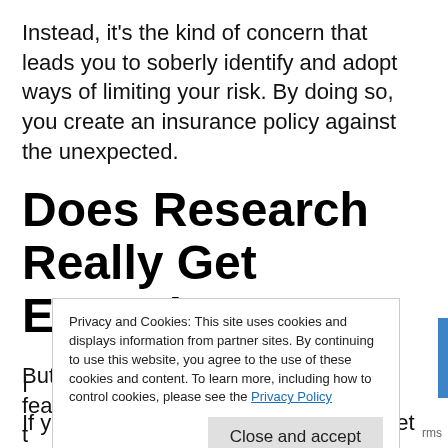Instead, it's the kind of concern that leads you to soberly identify and adopt ways of limiting your risk. By doing so, you create an insurance policy against the unexpected.
Does Research Really Get Erased?
But is this an actual danger? Is it really feasible t
I
If you have printed material, that can get
Privacy and Cookies: This site uses cookies and displays information from partner sites. By continuing to use this website, you agree to the use of these cookies and content. To learn more, including how to control cookies, please see the Privacy Policy
Close and accept